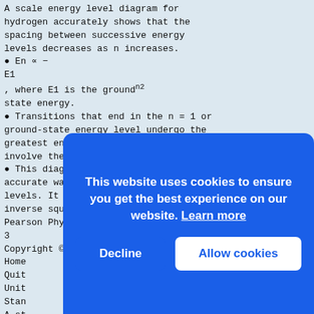A scale energy level diagram for hydrogen accurately shows that the spacing between successive energy levels decreases as n increases.
● En ∝ −
E1
n2
, where E1 is the ground state energy.
● Transitions that end in the n = 1 or ground-state energy level undergo the greatest energy change and thus involve the most energetic photons.
● This diagram is a simpler but less accurate way to illustrate energy levels. It does not illustrate the inverse square relationship with n.
Pearson Physics Teacher’s Resource 3
Copyright © 2007 Pearson Education Canada
Home
Quit
Unit
Stan
A st
poss
whol
elec
fits
circ
an o
Stan
firs
levels of the hydrogen
[Figure (other): Cookie consent banner overlay with blue background. Text: 'This website uses cookies to ensure you get the best experience on our website. Learn more' with 'Decline' and 'Allow cookies' buttons.]